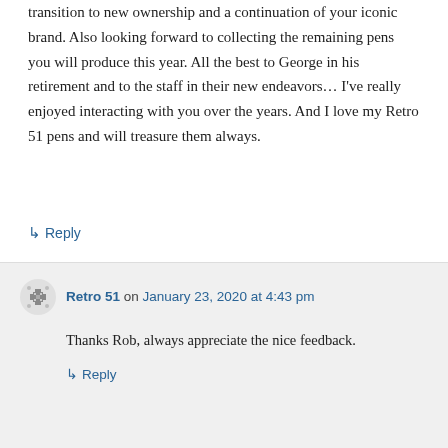transition to new ownership and a continuation of your iconic brand. Also looking forward to collecting the remaining pens you will produce this year. All the best to George in his retirement and to the staff in their new endeavors… I've really enjoyed interacting with you over the years. And I love my Retro 51 pens and will treasure them always.
↳ Reply
Retro 51 on January 23, 2020 at 4:43 pm
Thanks Rob, always appreciate the nice feedback.
↳ Reply